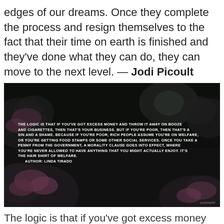edges of our dreams. Once they complete the process and resign themselves to the fact that their time on earth is finished and they've done what they can do, they can move to the next level. — Jodi Picoult
[Figure (photo): Dark moody photo of flowering trees/bushes at night with white text overlay of a quote by Linda Tirado about poverty and welfare morality]
The logic is that if you've got excess money and throw it away on booze and cigarettes, then that's the...